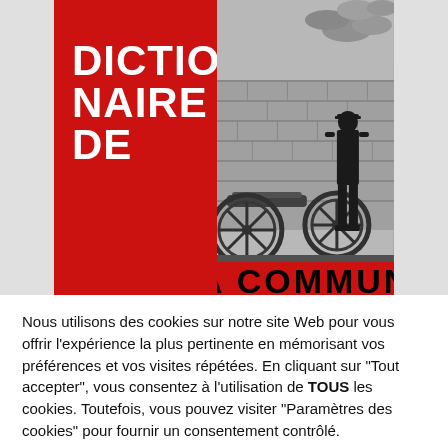[Figure (illustration): Book cover for 'Dictionnaire de la Commune' showing a split design: left half red panel with white bold title text 'DICTION NAIRE DE', right half black and white historical photo of a soldier standing near a cannon. Bottom red bar with large black text 'LA COMMUNE'.]
Nous utilisons des cookies sur notre site Web pour vous offrir l'expérience la plus pertinente en mémorisant vos préférences et vos visites répétées. En cliquant sur "Tout accepter", vous consentez à l'utilisation de TOUS les cookies. Toutefois, vous pouvez visiter "Paramètres des cookies" pour fournir un consentement contrôlé.
Réglages des cookies
Tout accepter